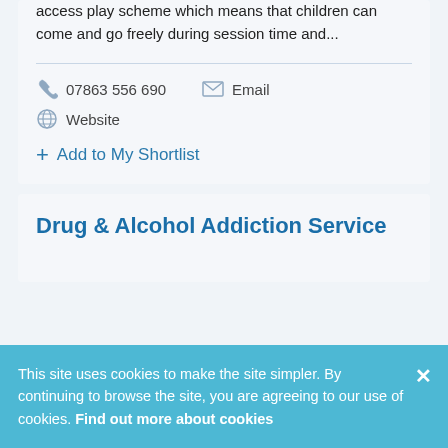access play scheme which means that children can come and go freely during session time and...
07863 556 690
Email
Website
+ Add to My Shortlist
Drug & Alcohol Addiction Service
This site uses cookies to make the site simpler. By continuing to browse the site, you are agreeing to our use of cookies. Find out more about cookies